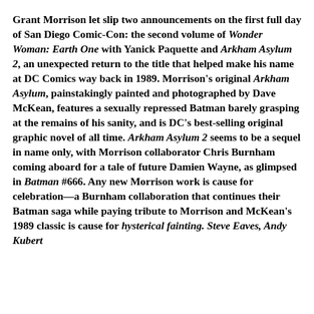Grant Morrison let slip two announcements on the first full day of San Diego Comic-Con: the second volume of Wonder Woman: Earth One with Yanick Paquette and Arkham Asylum 2, an unexpected return to the title that helped make his name at DC Comics way back in 1989. Morrison's original Arkham Asylum, painstakingly painted and photographed by Dave McKean, features a sexually repressed Batman barely grasping at the remains of his sanity, and is DC's best-selling original graphic novel of all time. Arkham Asylum 2 seems to be a sequel in name only, with Morrison collaborator Chris Burnham coming aboard for a tale of future Damien Wayne, as glimpsed in Batman #666. Any new Morrison work is cause for celebration—a Burnham collaboration that continues their Batman saga while paying tribute to Morrison and McKean's 1989 classic is cause for hysterical fainting. Steve Eaves, Andy Kubert...